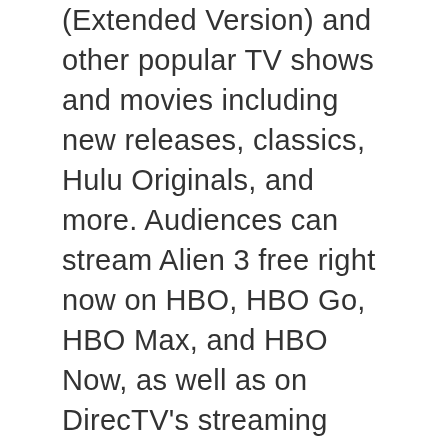(Extended Version) and other popular TV shows and movies including new releases, classics, Hulu Originals, and more. Audiences can stream Alien 3 free right now on HBO, HBO Go, HBO Max, and HBO Now, as well as on DirecTV's streaming service. The Talented Mr. Ripley / Ο ΤΑΛΑΝΤΟΥΧΟΣ ΚΥΡΙΟΣ ΡΙΠΛΕΙ (1999) imdb 7.4 … Until now, this browser version of Alien 3 has been archived as a museum artwork and rated 4.25 out of 5 marks, 8 numbers taken in rating this. Like and Share our website to support us. Filmow. 2:24. It's all on Hulu. After escaping with Newt and Hicks from the alien planet, Ripley crash lands on Fiorina 161, a prison planet and host to a correctional facility. On No Gift Groan More Afar b is minister b